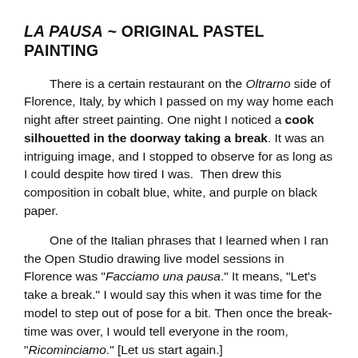LA PAUSA ~ ORIGINAL PASTEL PAINTING
There is a certain restaurant on the Oltrarno side of Florence, Italy, by which I passed on my way home each night after street painting. One night I noticed a cook silhouetted in the doorway taking a break. It was an intriguing image, and I stopped to observe for as long as I could despite how tired I was.  Then drew this composition in cobalt blue, white, and purple on black paper.
One of the Italian phrases that I learned when I ran the Open Studio drawing live model sessions in Florence was "Facciamo una pausa." It means, "Let's take a break." I would say this when it was time for the model to step out of pose for a bit. Then once the break-time was over, I would tell everyone in the room, "Ricominciamo." [Let us start again.]
This painting was created in pastels -- pure pigment -- on